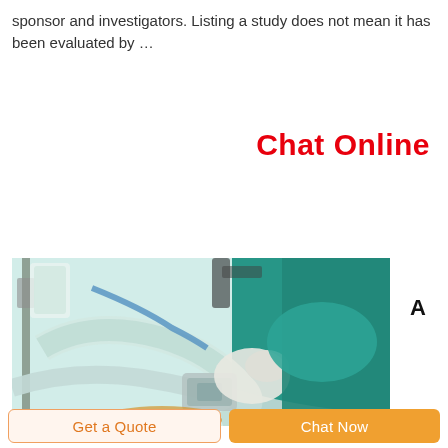sponsor and investigators. Listing a study does not mean it has been evaluated by …
Chat Online
[Figure (photo): Medical professional in green scrubs wearing white gloves handling anesthesia breathing circuit tubing and mask near medical equipment]
A
Get a Quote
Chat Now